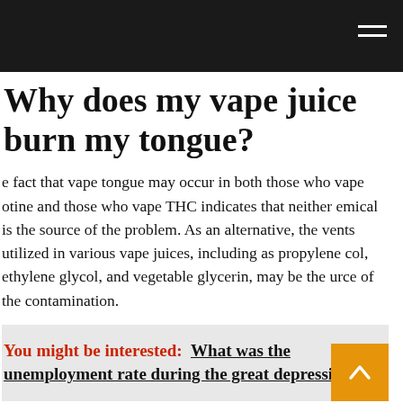Why does my vape juice burn my tongue?
e fact that vape tongue may occur in both those who vape otine and those who vape THC indicates that neither emical is the source of the problem. As an alternative, the vents utilized in various vape juices, including as propylene col, ethylene glycol, and vegetable glycerin, may be the urce of the contamination.
You might be interested:  What was the unemployment rate during the great depression?
Why can I taste my vape